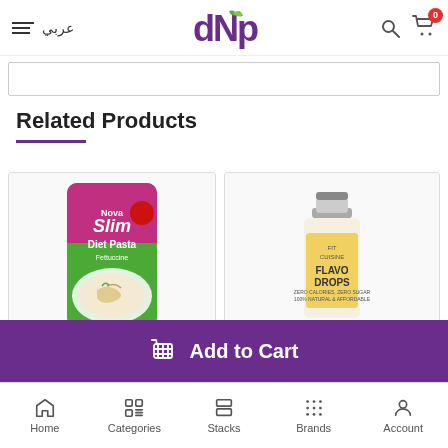DNP store header with hamburger menu, Arabic text عربي, DNP logo, search icon, cart with badge 0
Related Products
[Figure (photo): Product card showing Nova Slim Diet Pasta package (green and pink packaging with pasta serving image)]
[Figure (photo): Product card showing Fit Cuisine Flavo Drops bottle (yellow label, small bottle)]
Add to Cart bar with shopping basket icon
Bottom navigation: Home, Categories, Stacks, Brands, Account